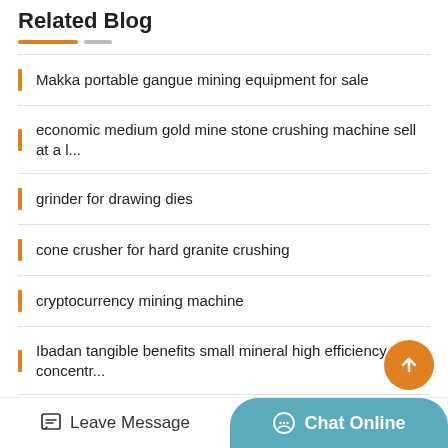Related Blog
Makka portable gangue mining equipment for sale
economic medium gold mine stone crushing machine sell at a l...
grinder for drawing dies
cone crusher for hard granite crushing
cryptocurrency mining machine
Ibadan tangible benefits small mineral high efficiency concentr...
coal tire ball mill
Leave Message | Chat Online